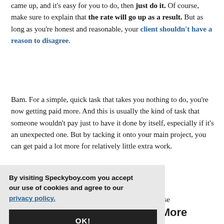came up, and it's easy for you to do, then just do it. Of course, make sure to explain that the rate will go up as a result. But as long as you're honest and reasonable, your client shouldn't have a reason to disagree.
Bam. For a simple, quick task that takes you nothing to do, you're now getting paid more. And this is usually the kind of task that someone wouldn't pay just to have it done by itself, especially if it's an unexpected one. But by tacking it onto your main project, you can get paid a lot more for relatively little extra work.
And you're not ripping your client off either, because [doing the task] / get because
[Figure (other): Cookie consent banner overlay with text: 'By visiting Speckyboy.com you accept our use of cookies and agree to our privacy policy.' and an OK! button.]
Don't Hold Back on Offering More